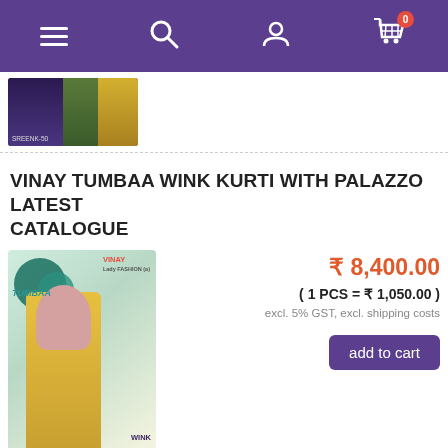Navigation bar with menu, search, account, and cart (0 items)
[Figure (photo): Thumbnail product image showing fabric/saree in dark, green and yellow colors with 'SREENK-50' label]
VINAY TUMBAA WINK KURTI WITH PALAZZO LATEST CATALOGUE
[Figure (photo): Product catalogue image showing VINAY TUMBAA WINK collection - woman in yellow kurti with palazzo, teal leaf background, brands labeled VINAY, TUMBAA, WINK]
₹ 8,400.00
( 1 PCS = ₹ 1,050.00 )
excl. 5% GST, excl. shipping costs
add to cart
VINAY TUMBAA WINK KURTI WITH PALAZZO LATEST CA...